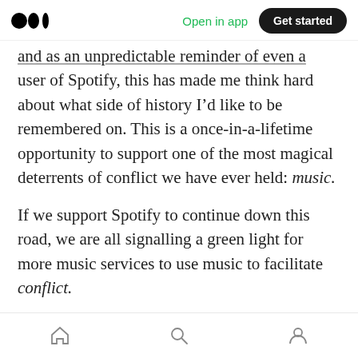Medium logo | Open in app | Get started
and as an unpredictable reminder of even a user of Spotify, this has made me think hard about what side of history I'd like to be remembered on. This is a once-in-a-lifetime opportunity to support one of the most magical deterrents of conflict we have ever held: music.
If we support Spotify to continue down this road, we are all signalling a green light for more music services to use music to facilitate conflict.
As a singer, songwriter, and recording artist, I certainly do not wish my own music to be
Home | Search | Profile